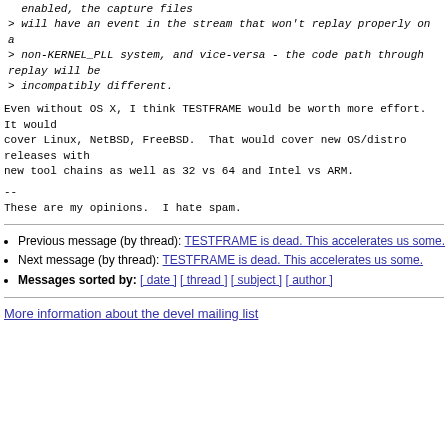> enabled, the capture files
> will have an event in the stream that won't replay properly on a
> non-KERNEL_PLL system, and vice-versa - the code path through replay will be
> incompatibly different.
Even without OS X, I think TESTFRAME would be worth more effort.  It would
cover Linux, NetBSD, FreeBSD.  That would cover new OS/distro releases with
new tool chains as well as 32 vs 64 and Intel vs ARM.
--
These are my opinions.  I hate spam.
Previous message (by thread): TESTFRAME is dead. This accelerates us some.
Next message (by thread): TESTFRAME is dead. This accelerates us some.
Messages sorted by: [ date ] [ thread ] [ subject ] [ author ]
More information about the devel mailing list